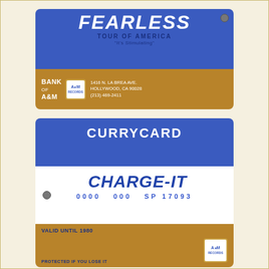[Figure (photo): A promotional card for 'Fearless Tour of America - It's Stimulating' issued by Bank of A&M Records, located at 1416 N. La Brea Ave., Hollywood, CA 90028, phone (213) 469-2411. Blue top section with white FEARLESS text, brown bottom section with bank details.]
[Figure (photo): A Currycard Charge-It card with card number 0000 000 SP 17093, valid until 1980, protected if you lose it. Issued by A&M Records. Blue top section with CURRYCARD text, white middle section with CHARGE-IT logo, brown bottom section with validity and protection info.]